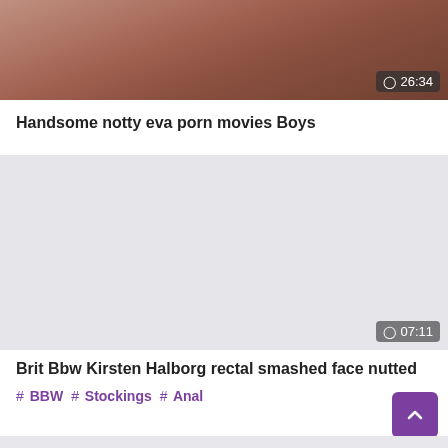[Figure (screenshot): Video thumbnail showing persons, with duration badge '26:34' in bottom right corner]
Handsome notty eva porn movies Boys
[Figure (screenshot): Light gray video thumbnail placeholder with duration badge '07:11' in bottom right corner]
Brit Bbw Kirsten Halborg rectal smashed face nutted
# BBW # Stockings # Anal